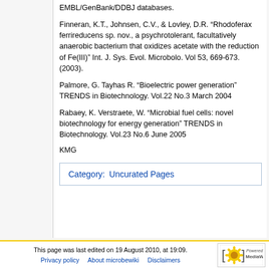EMBL/GenBank/DDBJ databases.
Finneran, K.T., Johnsen, C.V., & Lovley, D.R. “Rhodoferax ferrireducens sp. nov., a psychrotolerant, facultatively anaerobic bacterium that oxidizes acetate with the reduction of Fe(III)” Int. J. Sys. Evol. Microbolo. Vol 53, 669-673. (2003).
Palmore, G. Tayhas R. “Bioelectric power generation” TRENDS in Biotechnology. Vol.22 No.3 March 2004
Rabaey, K. Verstraete, W. “Microbial fuel cells: novel biotechnology for energy generation” TRENDS in Biotechnology. Vol.23 No.6 June 2005
KMG
Category:  Uncurated Pages
This page was last edited on 19 August 2010, at 19:09. Privacy policy   About microbewiki   Disclaimers